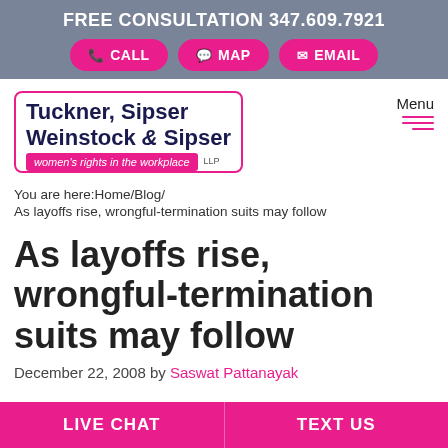FREE CONSULTATION 347.609.7921
CALL | MAP | EMAIL
[Figure (logo): Tuckner, Sipser Weinstock & Sipser LLP - women's rights in the workplace logo with pink border and pink tagline bar]
You are here:Home/Blog/
As layoffs rise, wrongful-termination suits may follow
As layoffs rise, wrongful-termination suits may follow
December 22, 2008 by Saswat Pattanayak
LIVE CHAT | TEXT US